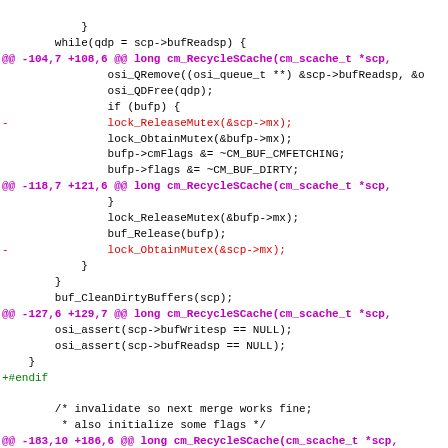[Figure (screenshot): Code diff view showing changes to cm_RecycleSCache function with hunk headers in magenta, removed lines in red, and added lines in green. Shows multiple diff hunks with C code.]